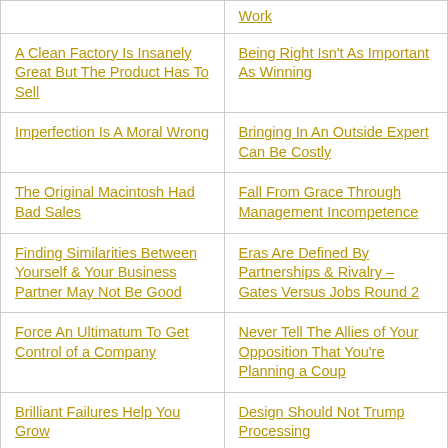| A Clean Factory Is Insanely Great But The Product Has To Sell | Being Right Isn't As Important As Winning |
| Imperfection Is A Moral Wrong | Bringing In An Outside Expert Can Be Costly |
| The Original Macintosh Had Bad Sales | Fall From Grace Through Management Incompetence |
| Finding Similarities Between Yourself & Your Business Partner May Not Be Good | Eras Are Defined By Partnerships & Rivalry – Gates Versus Jobs Round 2 |
| Force An Ultimatum To Get Control of a Company | Never Tell The Allies of Your Opposition That You're Planning a Coup |
| Brilliant Failures Help You Grow | Design Should Not Trump Processing |
| Do Not Disrespect Your Potential Business Partners | Get Real On Your Lean Startup |